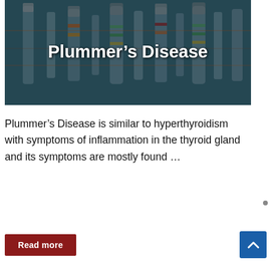[Figure (photo): Hero banner image of laboratory vials and syringes with a dark overlay, containing the article title 'Plummer's Disease' in bold white text centered over the image.]
Plummer's Disease
Plummer's Disease is similar to hyperthyroidism with symptoms of inflammation in the thyroid gland and its symptoms are mostly found …
Read more